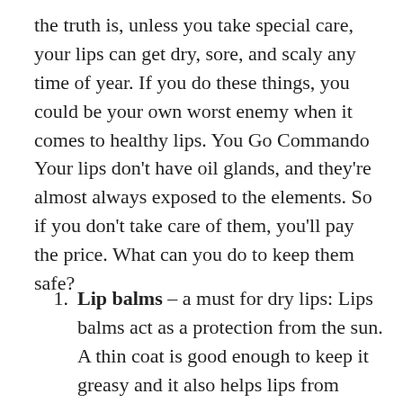the truth is, unless you take special care, your lips can get dry, sore, and scaly any time of year. If you do these things, you could be your own worst enemy when it comes to healthy lips. You Go Commando Your lips don't have oil glands, and they're almost always exposed to the elements. So if you don't take care of them, you'll pay the price. What can you do to keep them safe?
Lip balms – a must for dry lips: Lips balms act as a protection from the sun. A thin coat is good enough to keep it greasy and it also helps lips from getting chapped. Use the right lip Balm Peppermint enriched lip balms soothe the chapped lips. A good balm can buffer your delicate lip skin from the elements. Choose one high in emollients.